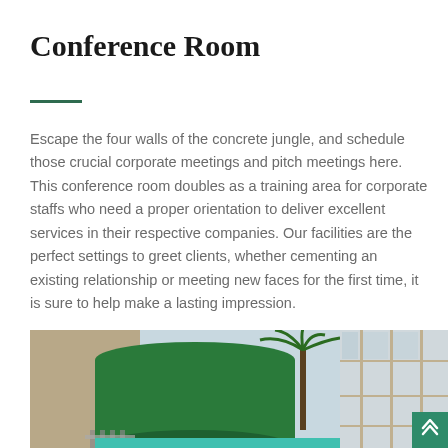Conference Room
Escape the four walls of the concrete jungle, and schedule those crucial corporate meetings and pitch meetings here. This conference room doubles as a training area for corporate staffs who need a proper orientation to deliver excellent services in their respective companies. Our facilities are the perfect settings to greet clients, whether cementing an existing relationship or meeting new faces for the first time, it is sure to help make a lasting impression.
[Figure (photo): Exterior photograph of a building with a large green cylindrical structure on the left, a palm tree visible in the background center, and a modern glass and metal facade on the right side.]